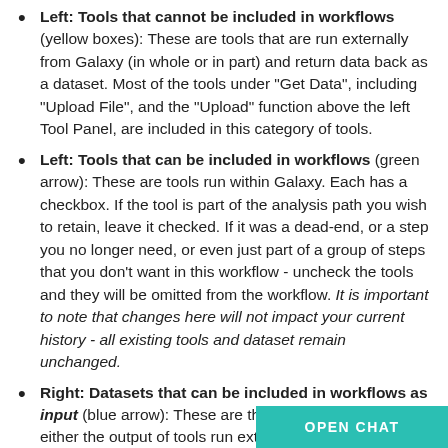Left: Tools that cannot be included in workflows (yellow boxes): These are tools that are run externally from Galaxy (in whole or in part) and return data back as a dataset. Most of the tools under "Get Data", including "Upload File", and the "Upload" function above the left Tool Panel, are included in this category of tools.
Left: Tools that can be included in workflows (green arrow): These are tools run within Galaxy. Each has a checkbox. If the tool is part of the analysis path you wish to retain, leave it checked. If it was a dead-end, or a step you no longer need, or even just part of a group of steps that you don't want in this workflow - uncheck the tools and they will be omitted from the workflow. It is important to note that changes here will not impact your current history - all existing tools and dataset remain unchanged.
Right: Datasets that can be included in workflows as input (blue arrow): These are the datasets that were either the output of tools run externally to Galaxy (in full or in part). Datasets that resulted from "yellow bo... datasets, and copied datasets (from a...